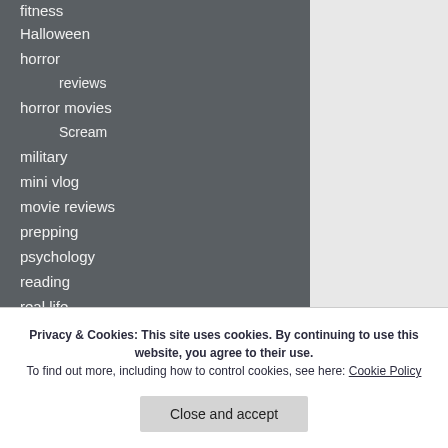fitness
Halloween
horror
reviews
horror movies
Scream
military
mini vlog
movie reviews
prepping
psychology
reading
real life
savage/civilized
selfie
I am told the ambigui and frustrated that I c movie would end. By
Privacy & Cookies: This site uses cookies. By continuing to use this website, you agree to their use. To find out more, including how to control cookies, see here: Cookie Policy
Close and accept